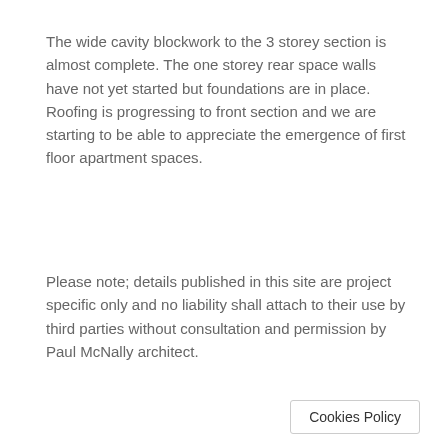The wide cavity blockwork to the 3 storey section is almost complete. The one storey rear space walls have not yet started but foundations are in place. Roofing is progressing to front section and we are starting to be able to appreciate the emergence of first floor apartment spaces.
Please note; details published in this site are project specific only and no liability shall attach to their use by third parties without consultation and permission by Paul McNally architect.
Cookies Policy